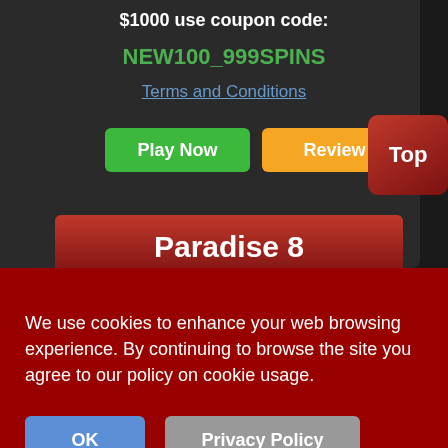$1000 use coupon code:
NEW100_999SPINS
Terms and Conditions
Play Now
Review
Top
Paradise 8
PLAY 100% BONUS
We use cookies to enhance your web browsing experience. By continuing to browse the site you agree to our policy on cookie usage.
OK
Privacy Policy